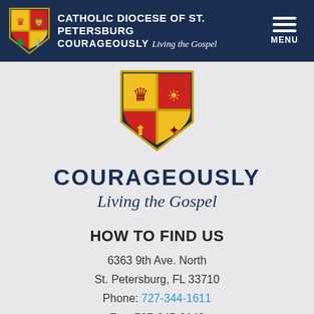CATHOLIC DIOCESE OF ST. PETERSBURG COURAGEOUSLY Living the Gospel MENU
[Figure (logo): Catholic Diocese of St. Petersburg coat of arms shield logo — large centered version]
COURAGEOUSLY Living the Gospel
HOW TO FIND US
6363 9th Ave. North
St. Petersburg, FL 33710
Phone: 727-344-1611
Fax: 727-345-2143